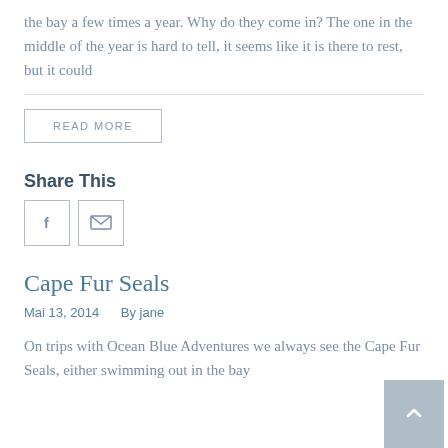the bay a few times a year. Why do they come in? The one in the middle of the year is hard to tell, it seems like it is there to rest, but it could
READ MORE
Share This
[Figure (other): Share icons: Facebook (f) and Email (envelope)]
Cape Fur Seals
Mai 13, 2014   By jane
On trips with Ocean Blue Adventures we always see the Cape Fur Seals, either swimming out in the bay